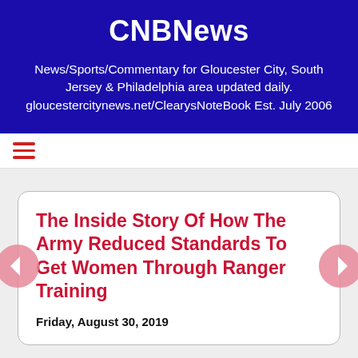CNBNews
News/Sports/Commentary for Gloucester City, South Jersey & Philadelphia area updated daily. gloucestercitynews.net/ClearysNoteBook Est. July 2006
☰
The Inside Story Of How The Army Reduced Standards To Get Women Through Ranger Training
Friday, August 30, 2019